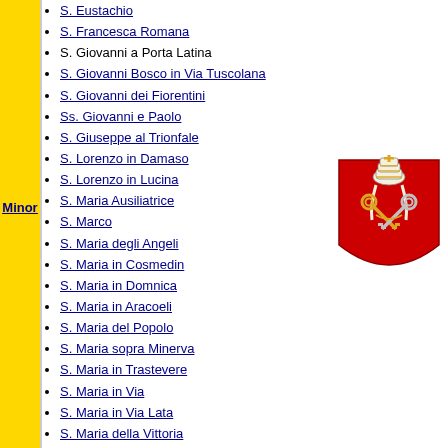Minor
S. Eustachio
S. Francesca Romana
S. Giovanni a Porta Latina
S. Giovanni Bosco in Via Tuscolana
S. Giovanni dei Fiorentini
Ss. Giovanni e Paolo
S. Giuseppe al Trionfale
S. Lorenzo in Damaso
S. Lorenzo in Lucina
S. Maria Ausiliatrice
S. Marco
S. Maria degli Angeli
S. Maria in Cosmedin
S. Maria in Domnica
S. Maria in Aracoeli
S. Maria del Popolo
S. Maria sopra Minerva
S. Maria in Trastevere
S. Maria in Via
S. Maria in Via Lata
S. Maria della Vittoria
S. Martino ai Monti
Ss. Nereo e Achilleo
S. Nicola in Carcere
S. Prassede
[Figure (illustration): Vatican coat of arms: papal tiara above crossed keys on a red shield]